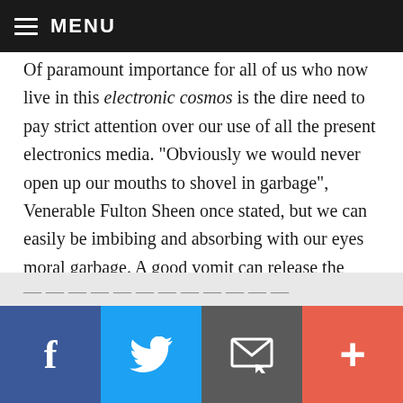MENU
Of paramount importance for all of us who now live in this electronic cosmos is the dire need to pay strict attention over our use of all the present electronics media. “Obviously we would never open up our mouths to shovel in garbage”, Venerable Fulton Sheen once stated, but we can easily be imbibing and absorbing with our eyes moral garbage. A good vomit can release the physical garbage consumed. However, it can take years to expunge and delete ugly images that we have seen from one of the many sources in the modern world of electronic media.